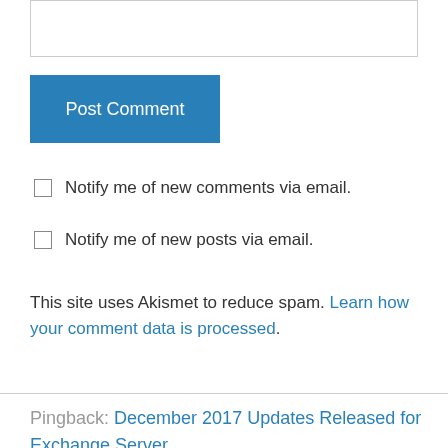[Figure (other): Text input field (comment box), partially visible at top]
Post Comment
Notify me of new comments via email.
Notify me of new posts via email.
This site uses Akismet to reduce spam. Learn how your comment data is processed.
Pingback: December 2017 Updates Released for Exchange Server